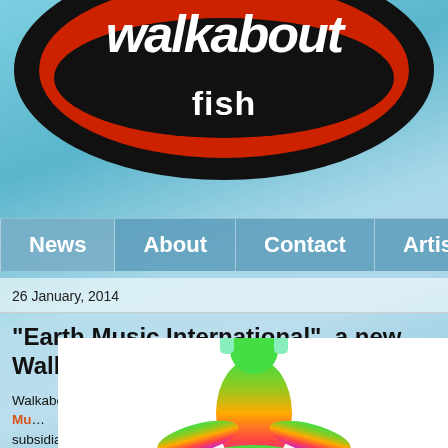[Figure (logo): Walkaboutfish Records logo — circular design with red oval and black border, white stylized text on black background]
News  About  Contact  Artists
26 January, 2014
"Earth Music International", a new Walkabout subsidiary
Walkaboutfish Records is excited to announce the formation of Earth Mu... subsidiary company specializing in recorded and live music for a spiritua...
[Figure (illustration): Colorful rainbow-gradient silhouette of a person sitting in lotus meditation pose, wearing headphones, against white background]